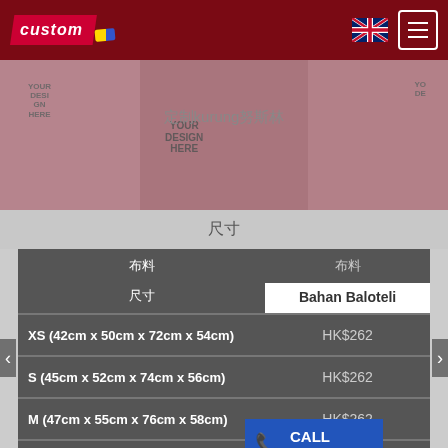custom [logo] - navigation with UK flag and menu button
[Figure (photo): Banner showing models wearing custom kurung clothing with 'YOUR DESIGN HERE' text overlay and Malaysian fashion garments]
尺寸
| 尺寸 | 布料 | Bahan Baloteli |
| --- | --- | --- |
| XS (42cm x 50cm x 72cm x 54cm) | HK$262 |
| S (45cm x 52cm x 74cm x 56cm) | HK$262 |
| M (47cm x 55cm x 76cm x 58cm) | HK$262 |
| L (49cm x 57cm x 78c…) | HK$262 |
| XL (52cm x 60cm x 80c…) | HK$288 |